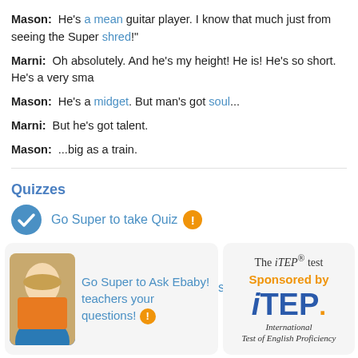Mason: He's a mean guitar player. I know that much just from seeing the Super shred!"
Marni: Oh absolutely. And he's my height! He is! He's so short. He's a very sma
Mason: He's a midget. But man's got soul...
Marni: But he's got talent.
Mason: ...big as a train.
Quizzes
Go Super to take Quiz
Lesson MP3
Go Super to download full lesson MP3
Go Super to Ask Ebaby! teachers your questions!
The iTEP® test
Sponsored by
iTEP.
International
Test of English Proficiency